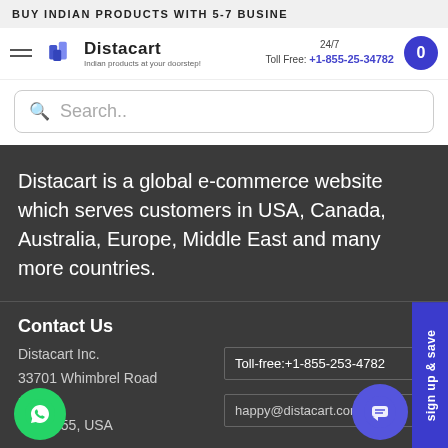BUY INDIAN PRODUCTS WITH 5-7 BUSINE
[Figure (logo): Distacart logo with tagline 'Indian products at your doorstep']
24/7 Toll Free: +1-855-25-34782
Search..
Distacart is a global e-commerce website which serves customers in USA, Canada, Australia, Europe, Middle East and many more countries.
Contact Us
Distacart Inc.
33701 Whimbrel Road
mont,
A 94555, USA
Toll-free:+1-855-253-4782
happy@distacart.com